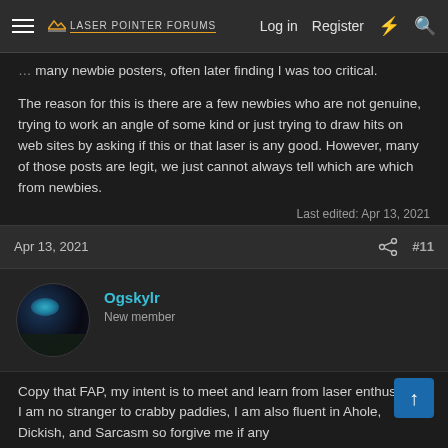Laser Pointer Forums — Log in  Register
many newbie posters, often later finding I was too critical.
The reason for this is there are a few newbies who are not genuine, trying to work an angle of some kind or just trying to draw hits on web sites by asking if this or that laser is any good. However, many of those posts are legit, we just cannot always tell which are which from newbies.
Last edited: Apr 13, 2021
Apr 13, 2021   #11
Ogskylr
New member
Copy that FAP, my intent is to meet and learn from laser enthusiasts. I am no stranger to crabby paddies, I am also fluent in Ahole, Dickish, and Sarcasm so forgive me if any